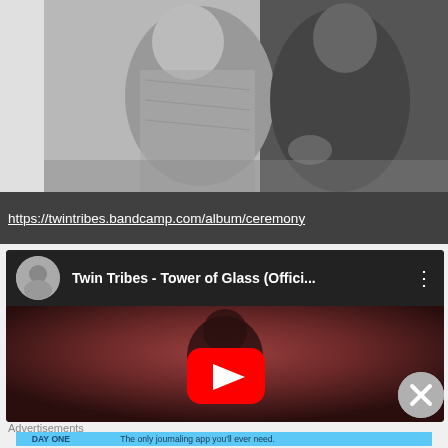[Figure (photo): Black and white photo of two people, one in patterned shirt in foreground, one in dark clothing behind]
https://twintribes.bandcamp.com/album/ceremony
[Figure (screenshot): YouTube embed thumbnail for 'Twin Tribes - Tower of Glass (Offici...' with red play button]
Advertisements
[Figure (photo): Ad banner: DAY ONE - The only journaling app you'll ever need.]